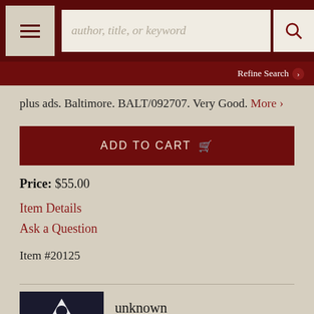author, title, or keyword | Refine Search
plus ads. Baltimore. BALT/092707. Very Good. More ›
ADD TO CART
Price: $55.00
Item Details
Ask a Question
Item #20125
unknown